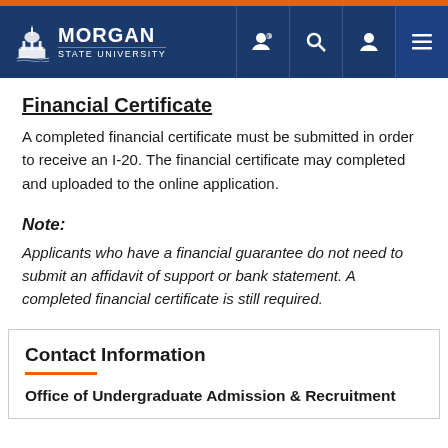Morgan State University
Financial Certificate
A completed financial certificate must be submitted in order to receive an I-20. The financial certificate may completed and uploaded to the online application.
Note: Applicants who have a financial guarantee do not need to submit an affidavit of support or bank statement. A completed financial certificate is still required.
Contact Information
Office of Undergraduate Admission & Recruitment